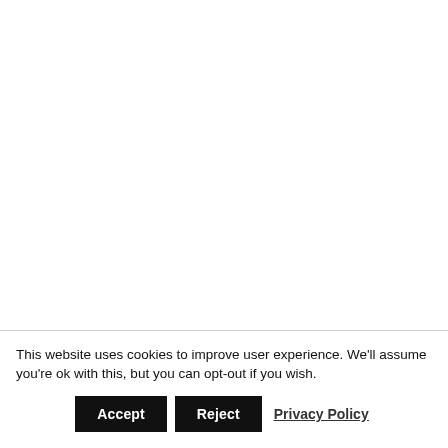This website uses cookies to improve user experience. We'll assume you're ok with this, but you can opt-out if you wish.
Accept | Reject | Privacy Policy